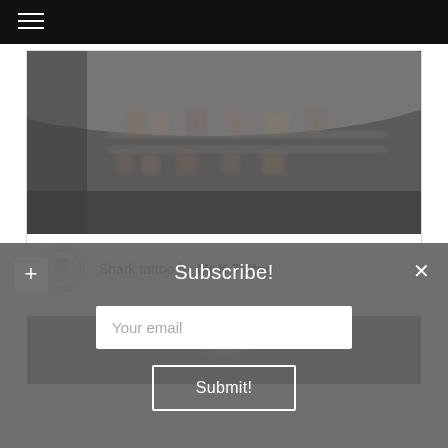Navigation bar with hamburger menu
[Figure (photo): Blurred black and white photo of a tattoo shop shelf with ink bottles and supplies]
Shark tattoo by Mr K Tattoo
[Figure (photo): Black and white photo with a bright glowing orb/light shape visible]
Subscribe!
Your email
Submit!